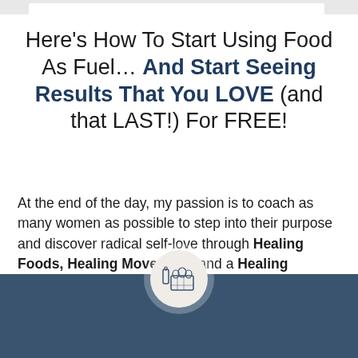Here's How To Start Using Food As Fuel… And Start Seeing Results That You LOVE (and that LAST!) For FREE!
At the end of the day, my passion is to coach as many women as possible to step into their purpose and discover radical self-love through Healing Foods, Healing Movement, and a Healing Mindset.
[Figure (illustration): A circular icon with a grocery/food basket containing vegetables, fruits, and a bottle, on a light beige background circle, set against a dark blue-grey background section.]